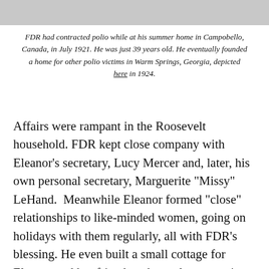[Figure (photo): Top portion of a photograph, partially visible, showing a scene related to FDR at Warm Springs, Georgia.]
FDR had contracted polio while at his summer home in Campobello, Canada, in July 1921. He was just 39 years old. He eventually founded a home for other polio victims in Warm Springs, Georgia, depicted here in 1924.
Affairs were rampant in the Roosevelt household. FDR kept close company with Eleanor’s secretary, Lucy Mercer and, later, his own personal secretary, Marguerite “Missy” LeHand.  Meanwhile Eleanor formed “close” relationships to like-minded women, going on holidays with them regularly, all with FDR’s blessing. He even built a small cottage for Eleanor and her friends to have sleepovers just two miles from the family home in Hyde Park.  After her husband’s death, Eleanor became a chief